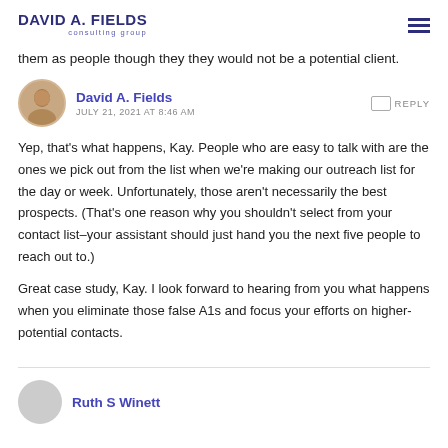DAVID A. FIELDS consulting group
them as people though they they would not be a potential client.
David A. Fields
JULY 21, 2021 AT 8:46 AM
Yep, that's what happens, Kay. People who are easy to talk with are the ones we pick out from the list when we're making our outreach list for the day or week. Unfortunately, those aren't necessarily the best prospects. (That's one reason why you shouldn't select from your contact list–your assistant should just hand you the next five people to reach out to.)
Great case study, Kay. I look forward to hearing from you what happens when you eliminate those false A1s and focus your efforts on higher-potential contacts.
Ruth S Winett